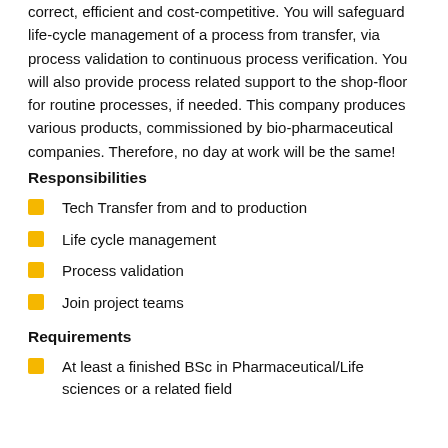correct, efficient and cost-competitive. You will safeguard life-cycle management of a process from transfer, via process validation to continuous process verification. You will also provide process related support to the shop-floor for routine processes, if needed. This company produces various products, commissioned by bio-pharmaceutical companies. Therefore, no day at work will be the same!
Responsibilities
Tech Transfer from and to production
Life cycle management
Process validation
Join project teams
Requirements
At least a finished BSc in Pharmaceutical/Life sciences or a related field